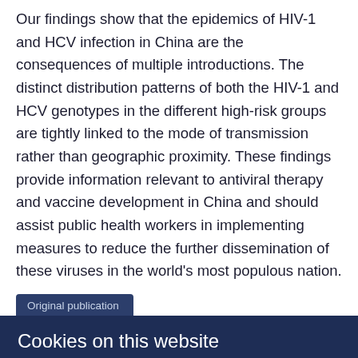Our findings show that the epidemics of HIV-1 and HCV infection in China are the consequences of multiple introductions. The distinct distribution patterns of both the HIV-1 and HCV genotypes in the different high-risk groups are tightly linked to the mode of transmission rather than geographic proximity. These findings provide information relevant to antiviral therapy and vaccine development in China and should assist public health workers in implementing measures to reduce the further dissemination of these viruses in the world's most populous nation.
Original publication
Cookies on this website
We use cookies to ensure that we give you the best experience on our website. If you click 'Accept all cookies' we'll assume that you are happy to receive all cookies and you won't see this message again. If you click 'Reject all non-essential cookies' only necessary cookies providing